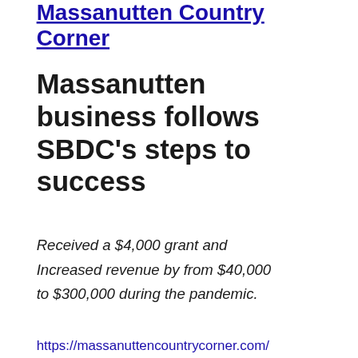Massanutten Country Corner
Massanutten business follows SBDC's steps to success
Received a $4,000 grant and Increased revenue by from $40,000 to $300,000 during the pandemic.
https://massanuttencountrycorner.com/